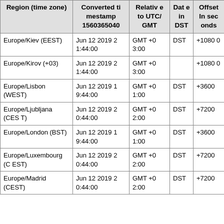| Region (time zone) | Converted timestamp 1560365040 | Relative to UTC/GMT | Date in DST | Offset In seconds |
| --- | --- | --- | --- | --- |
| Europe/Kiev (EEST) | Jun 12 2019 21:44:00 | GMT +03:00 | DST | +10800 |
| Europe/Kirov (+03) | Jun 12 2019 21:44:00 | GMT +03:00 |  | +10800 |
| Europe/Lisbon (WEST) | Jun 12 2019 19:44:00 | GMT +01:00 | DST | +3600 |
| Europe/Ljubljana (CEST) | Jun 12 2019 20:44:00 | GMT +02:00 | DST | +7200 |
| Europe/London (BST) | Jun 12 2019 19:44:00 | GMT +01:00 | DST | +3600 |
| Europe/Luxembourg (CEST) | Jun 12 2019 20:44:00 | GMT +02:00 | DST | +7200 |
| Europe/Madrid (CEST) | Jun 12 2019 20:44:00 | GMT +02:00 | DST | +7200 |